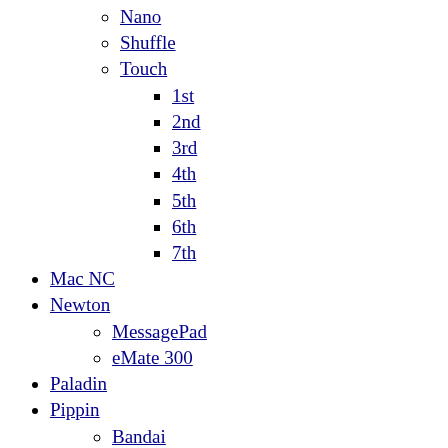Nano
Shuffle
Touch
1st
2nd
3rd
4th
5th
6th
7th
Mac NC
Newton
MessagePad
eMate 300
Paladin
Pippin
Bandai
PowerCD
QuickTake
W.A.L.T.
AirPods
Pro
Max
Beats